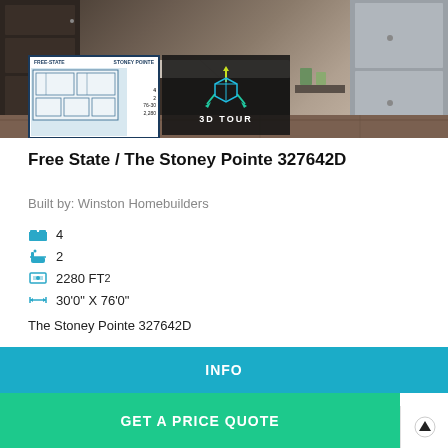[Figure (photo): Kitchen interior photo showing dark wood cabinets, marble countertop island, and stainless steel refrigerator]
[Figure (other): Floor plan thumbnail labeled FREE STATE / STONEY POINTE with 4 bed, 2 bath, 76-30, 2280]
[Figure (other): 3D tour icon with glowing cube and arrows on dark background with text '3D TOUR']
Free State / The Stoney Pointe 327642D
Built by: Winston Homebuilders
4 (bedrooms)
2 (bathrooms)
2280 FT²
30'0" X 76'0"
The Stoney Pointe 327642D
INFO
GET A PRICE QUOTE